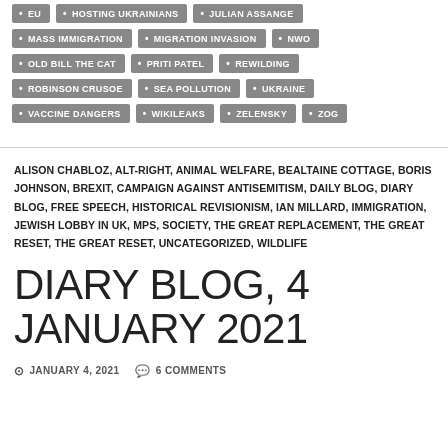• EU • HOSTING UKRAINIANS • JULIAN ASSANGE • MASS IMMIGRATION • MIGRATION INVASION • NWO • OLD BILL THE CAT • PRITI PATEL • REWILDING • ROBINSON CRUSOE • SEA POLLUTION • UKRAINE • VACCINE DANGERS • WIKILEAKS • ZELENSKY • ZOG
ALISON CHABLOZ, ALT-RIGHT, ANIMAL WELFARE, BEALTAINE COTTAGE, BORIS JOHNSON, BREXIT, CAMPAIGN AGAINST ANTISEMITISM, DAILY BLOG, DIARY BLOG, FREE SPEECH, HISTORICAL REVISIONISM, IAN MILLARD, IMMIGRATION, JEWISH LOBBY IN UK, MPS, SOCIETY, THE GREAT REPLACEMENT, THE GREAT RESET, THE GREAT RESET, UNCATEGORIZED, WILDLIFE
DIARY BLOG, 4 JANUARY 2021
JANUARY 4, 2021   6 COMMENTS